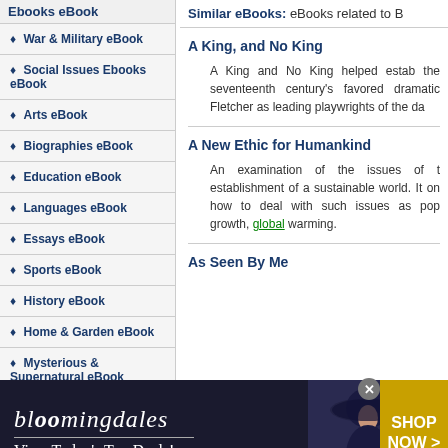Ebooks eBook
War & Military eBook
Social Issues Ebooks eBook
Arts eBook
Biographies eBook
Education eBook
Languages eBook
Essays eBook
Sports eBook
History eBook
Home & Garden eBook
Mysterious & Supernatural eBook
Similar eBooks: eBooks related to B
A King, and No King
A King and No King helped establish the seventeenth century's favored dramatic Fletcher as leading playwrights of the da
A New Ethic for Humankind
An examination of the issues of the establishment of a sustainable world. It on how to deal with such issues as pop growth, global warming.
As Seen By Me
[Figure (photo): Bloomingdale's advertisement banner showing a woman in a large brimmed hat with text 'bloomingdales View Today's Top Deals!' and a 'SHOP NOW >' button]